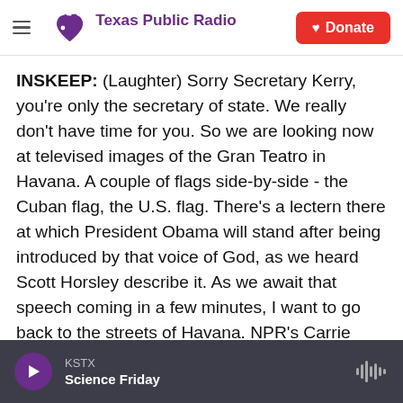Texas Public Radio | Donate
INSKEEP: (Laughter) Sorry Secretary Kerry, you're only the secretary of state. We really don't have time for you. So we are looking now at televised images of the Gran Teatro in Havana. A couple of flags side-by-side - the Cuban flag, the U.S. flag. There's a lectern there at which President Obama will stand after being introduced by that voice of God, as we heard Scott Horsley describe it. As we await that speech coming in a few minutes, I want to go back to the streets of Havana. NPR's Carrie Kahn is in Cuba, has covered this country off and on for years. Carrie, where are you?
KSTX | Science Friday